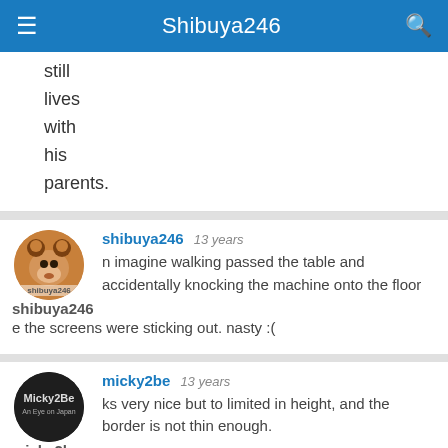Shibuya246
still lives with his parents.
shibuya246   13 years
...n imagine walking passed the table and accidentally knocking the machine onto the floor
shibuya246 ...e the screens were sticking out. nasty :(
micky2be   13 years
...ks very nice but to limited in height, and the border is not thin enough.
micky2be ...be the next one will be better.